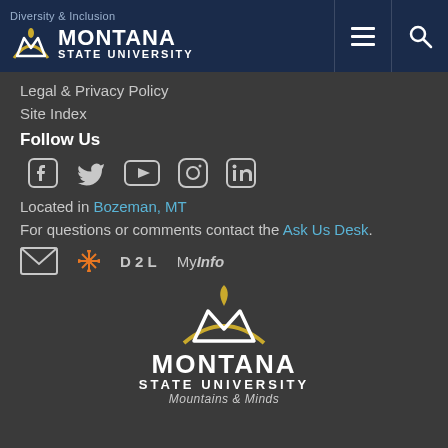Diversity & Inclusion — Montana State University header with navigation
Legal & Privacy Policy
Site Index
Follow Us
[Figure (infographic): Social media icons: Facebook, Twitter, YouTube, Instagram, LinkedIn]
Located in Bozeman, MT
For questions or comments contact the Ask Us Desk.
[Figure (infographic): Tool links: email envelope icon, D2L snowflake logo with D2L text, MyInfo with italic Info]
[Figure (logo): Montana State University logo with M icon, MONTANA STATE UNIVERSITY text, and Mountains & Minds tagline]